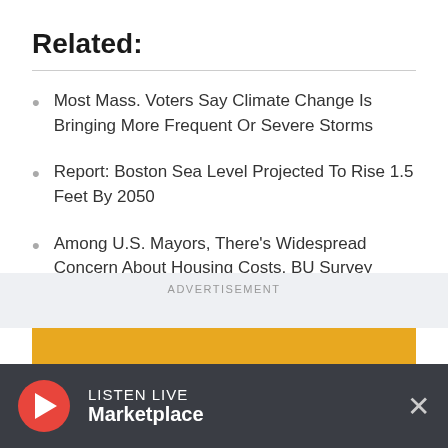Related:
Most Mass. Voters Say Climate Change Is Bringing More Frequent Or Severe Storms
Report: Boston Sea Level Projected To Rise 1.5 Feet By 2050
Among U.S. Mayors, There's Widespread Concern About Housing Costs, BU Survey Finds
Boston To Host International Climate Summit In 2018
ADVERTISEMENT
LISTEN LIVE Marketplace